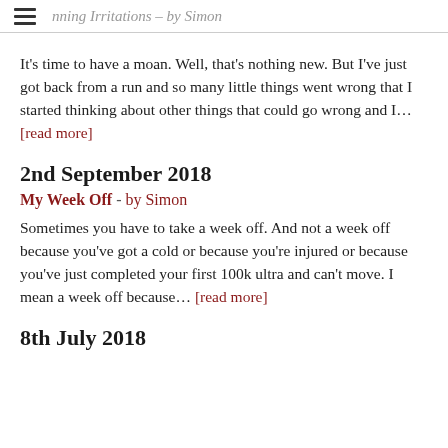Running Irritations – by Simon
It's time to have a moan. Well, that's nothing new. But I've just got back from a run and so many little things went wrong that I started thinking about other things that could go wrong and I… [read more]
2nd September 2018
My Week Off  -  by Simon
Sometimes you have to take a week off. And not a week off because you've got a cold or because you're injured or because you've just completed your first 100k ultra and can't move. I mean a week off because… [read more]
8th July 2018